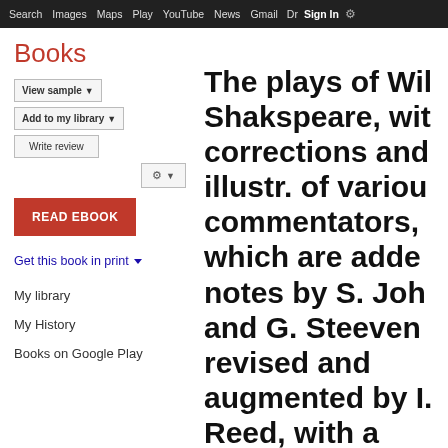Search  Images  Maps  Play  YouTube  News  Gmail  Drive  More  Sign In  ⚙
Books
View sample ▼   Add to my library ▼   Write review
READ EBOOK
Get this book in print ▼
My library
My History
Books on Google Play
The plays of William Shakspeare, with corrections and illustr. of various commentators, to which are added notes by S. Johnson and G. Steevens, revised and augmented by I. Reed, with a glossarial index
4